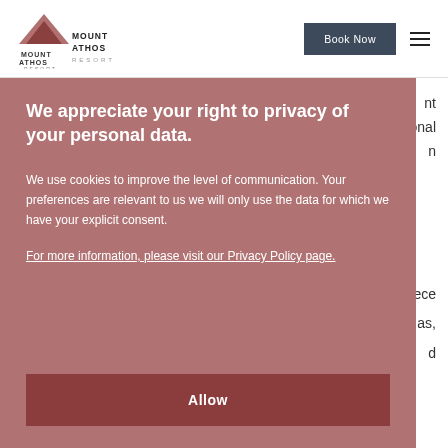[Figure (logo): Mount Athos Resort logo with stylized mountain/roof shape in dark rose/mauve color and text below]
Book Now
nt
tional
n
We appreciate your right to privacy of your personal data.
We use cookies to improve the level of communication. Your preferences are relevant to us we will only use the data for which we have your explicit consent.
For more information, please visit our Privacy Policy page.
Allow
ece
as,
d
easy
Way of Living.